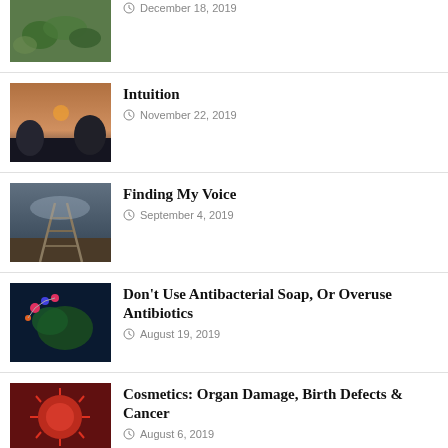[Figure (photo): Thumbnail image of green plant leaves]
December 18, 2019
[Figure (photo): Thumbnail image of sunset sky with silhouetted trees]
Intuition
November 22, 2019
[Figure (photo): Thumbnail image of misty railway tracks]
Finding My Voice
September 4, 2019
[Figure (photo): Thumbnail image of molecular/bacteria illustration]
Don’t Use Antibacterial Soap, Or Overuse Antibiotics
August 19, 2019
[Figure (photo): Thumbnail image of a red cancer cell]
Cosmetics: Organ Damage, Birth Defects & Cancer
August 6, 2019